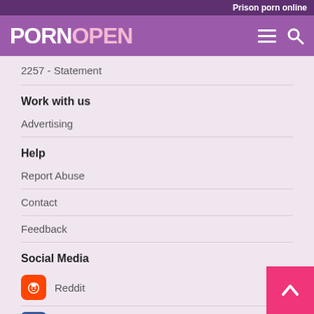Prison porn online
[Figure (logo): PORNOPEN logo with hamburger menu and search icon]
2257 - Statement
Work with us
Advertising
Help
Report Abuse
Contact
Feedback
Social Media
Reddit
Facebook
Twitter